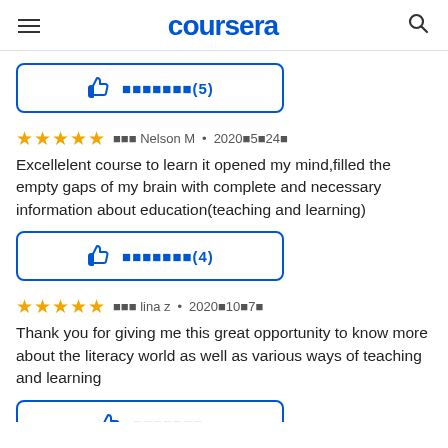coursera
[Figure (screenshot): Helpful button with thumbs up icon and text showing (5) helpful votes, blue outlined button]
★★★★★  ███ Nelson M • 2020█5█24█
Excellelent course to learn it opened my mind,filled the empty gaps of my brain with complete and necessary information about education(teaching and learning)
[Figure (screenshot): Helpful button with thumbs up icon and text showing (4) helpful votes, blue outlined button]
★★★★★  ███ lina z • 2020█10█7█
Thank you for giving me this great opportunity to know more about the literacy world as well as various ways of teaching and learning
[Figure (screenshot): Partial helpful button with thumbs up icon, blue outlined button, cropped at bottom]